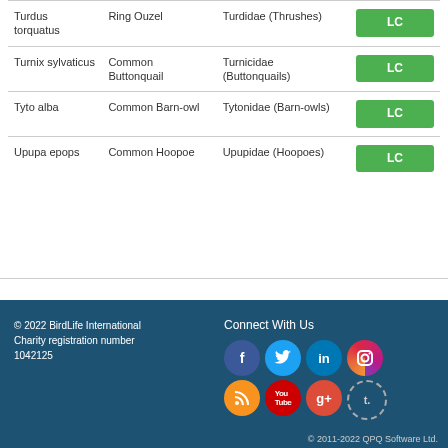| Scientific Name | Common Name | Family | Status |
| --- | --- | --- | --- |
| Turdus torquatus | Ring Ouzel | Turdidae (Thrushes) | LC |
| Turnix sylvaticus | Common Buttonquail | Turnicidae (Buttonquails) | LC |
| Tyto alba | Common Barn-owl | Tytonidae (Barn-owls) | LC |
| Upupa epops | Common Hoopoe | Upupidae (Hoopoes) | LC |
© 2022 BirdLife International Charity registration number 1042125 | Connect With Us | © 2011-2022 QPQ Software Ltd.